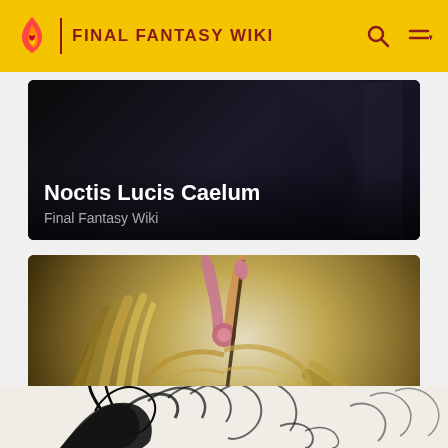FINAL FANTASY WIKI
Noctis Lucis Caelum
Final Fantasy Wiki
[Figure (illustration): Barbariccia character artwork showing a female figure with long flowing golden hair wrapped around her body, holding a weapon, in a fantasy art style]
Barbariccia
Final Fantasy Wiki
[Figure (illustration): Partial view of another Final Fantasy character artwork at the bottom of the page, showing dark dragon-like or monster imagery in black ink style]